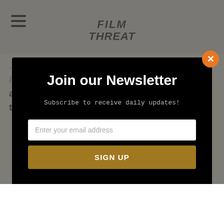Film Threat
…self-spoken and deliberate, while Futch is lively and erratic. Cobb and Valicenti are superb in their roles
[Figure (screenshot): Newsletter signup modal overlay on Film Threat website. Black modal with title 'Join our Newsletter', subtitle 'Subscribe to receive daily updates!', an email input field, and a gold 'SIGN UP' button. Orange close button (X) in top-right corner.]
Join our Newsletter
Subscribe to receive daily updates!
Enter your email address
SIGN UP